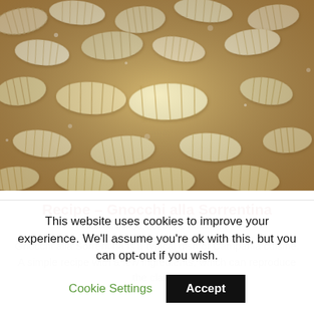[Figure (photo): Close-up photo of uncooked gnocchi pieces arranged on a floured surface, showing ridged texture, pale dough color.]
Recipe – Gnocchi alla Sorrentina
November 30, 2020 /// 1 Comment
Gnocchi alla Sorrentina is a typical dish of Campania cuisine. A simple recipe with a few ingredients, which can reproduce the classic Mediterranean flavors in a simple...
This website uses cookies to improve your experience. We'll assume you're ok with this, but you can opt-out if you wish. Cookie Settings Accept